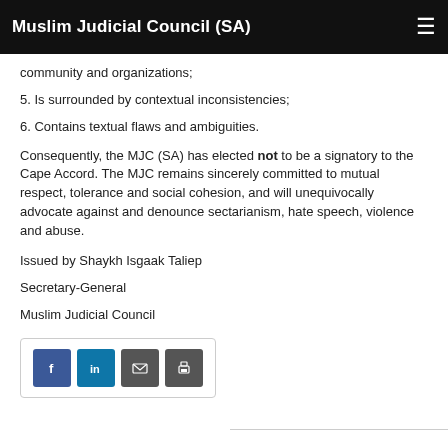Muslim Judicial Council (SA)
community and organizations;
5. Is surrounded by contextual inconsistencies;
6. Contains textual flaws and ambiguities.
Consequently, the MJC (SA) has elected not to be a signatory to the Cape Accord. The MJC remains sincerely committed to mutual respect, tolerance and social cohesion, and will unequivocally advocate against and denounce sectarianism, hate speech, violence and abuse.
Issued by Shaykh Isgaak Taliep
Secretary-General
Muslim Judicial Council
[Figure (other): Social share buttons: Facebook, LinkedIn, Email, Print]